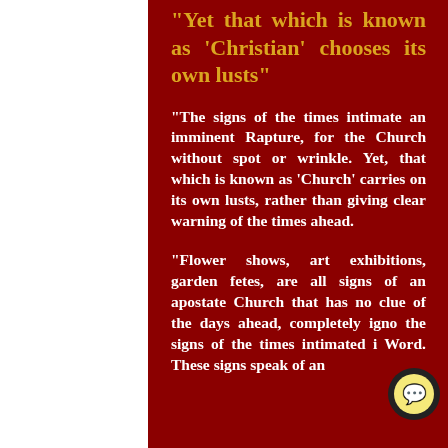“Yet that which is known as ‘Christian’ chooses its own lusts”
“The signs of the times intimate an imminent Rapture, for the Church without spot or wrinkle. Yet, that which is known as ‘Church’ carries on its own lusts, rather than giving clear warning of the times ahead.
“Flower shows, art exhibitions, garden fetes, are all signs of an apostate Church that has no clue of the days ahead, completely ignoring the signs of the times intimated in the Word. These signs speak of an